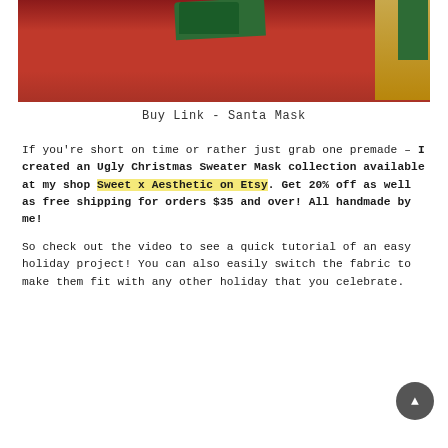[Figure (photo): Christmas stockings hung up, red fabric with green and gold accents visible at top]
Buy Link - Santa Mask
If you're short on time or rather just grab one premade – I created an Ugly Christmas Sweater Mask collection available at my shop Sweet x Aesthetic on Etsy. Get 20% off as well as free shipping for orders $35 and over! All handmade by me!
So check out the video to see a quick tutorial of an easy holiday project! You can also easily switch the fabric to make them fit with any other holiday that you celebrate.